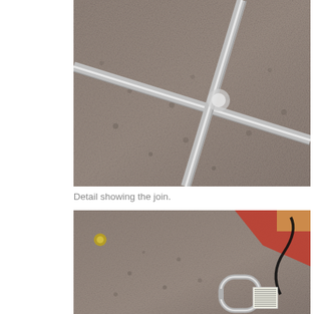[Figure (photo): Close-up photo of metal cross/T-bar frame resting on grey carpet, showing the join where two metal bars cross each other.]
Detail showing the join.
[Figure (photo): Close-up photo of grey carpet with a metal D-ring or bracket and a small ruler/measuring tape visible, along with red object in background.]